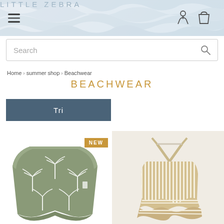LITTLE ZEBRA
Search
Home > summer shop > Beachwear
BEACHWEAR
Tri
[Figure (photo): Green swimwear bottoms with white palm tree pattern, with a NEW badge overlay]
[Figure (photo): Beige and white striped swimsuit with ruffle hem and cross-back straps]